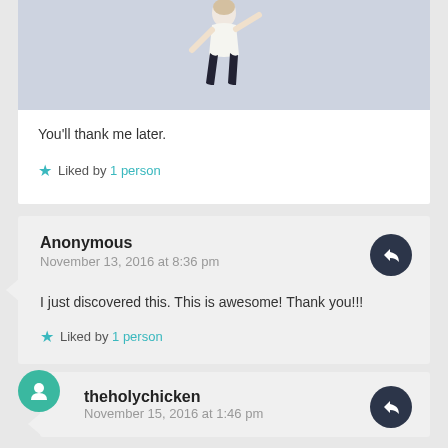[Figure (photo): Partial image of a dancer figure in dark clothing against a light blue-grey background]
You'll thank me later.
★ Liked by 1 person
Anonymous
November 13, 2016 at 8:36 pm
I just discovered this. This is awesome! Thank you!!!
★ Liked by 1 person
theholychicken
November 15, 2016 at 1:46 pm